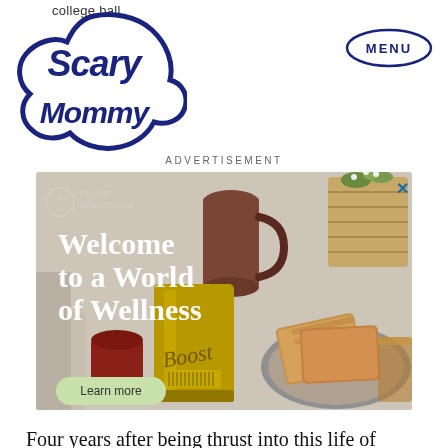college ball
[Figure (logo): Scary Mommy logo — stylized text in a cloud/blob shape with navy blue border]
MENU
ADVERTISEMENT
[Figure (photo): Advertisement for Plant Precision 'Boost' product. Shows a wellness lifestyle scene with a brown pitcher, wicker vase with flowers, golden Boost supplement bag, toast on a plate, and a glass. Text reads: Welcome to a World of Wellness. Learn more button.]
Four years after being thrust into this life of nonstop baseball, we are beginning to see signs that our little fan's patience might be waning. In